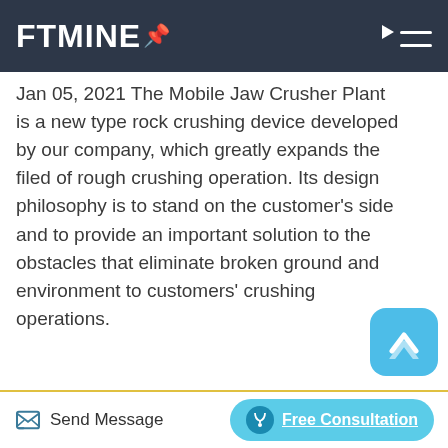FTMINE
Jan 05, 2021 The Mobile Jaw Crusher Plant is a new type rock crushing device developed by our company, which greatly expands the filed of rough crushing operation. Its design philosophy is to stand on the customer's side and to provide an important solution to the obstacles that eliminate broken ground and environment to customers' crushing operations.
[Figure (photo): Industrial mobile jaw crusher plant with yellow machinery, steel conveyor belts and structural framework against a grey sky]
Send Message
Free Consultation